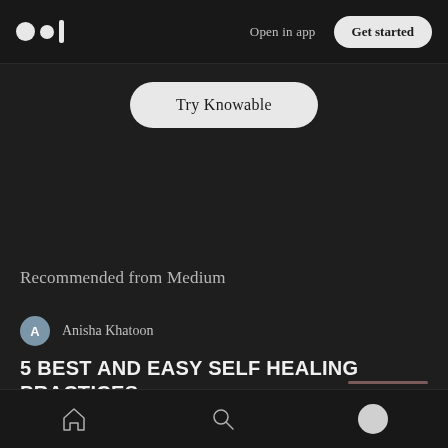Open in app | Get started
Try Knowable
Recommended from Medium
Anisha Khatoon
5 BEST AND EASY SELF HEALING PRACTICES
Home | Search | Profile